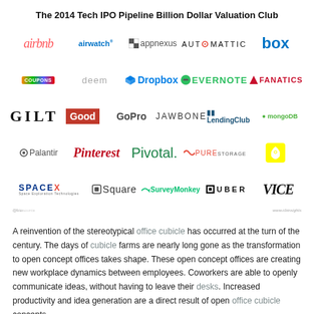The 2014 Tech IPO Pipeline Billion Dollar Valuation Club
[Figure (infographic): Logo grid of 2014 Tech IPO Pipeline companies including airbnb, airwatch, appnexus, AUTOMATTIC, box, COUPONS, deem, Dropbox, EVERNOTE, FANATICS, GILT, Good, GoPro, JAWBONE, LendingClub, mongoDB, Palantir, Pinterest, Pivotal, PURE STORAGE, Snapchat, SPACEX, Square, SurveyMonkey, UBER, VICE]
A reinvention of the stereotypical office cubicle has occurred at the turn of the century. The days of cubicle farms are nearly long gone as the transformation to open concept offices takes shape. These open concept offices are creating new workplace dynamics between employees. Coworkers are able to openly communicate ideas, without having to leave their desks. Increased productivity and idea generation are a direct result of open office cubicle concepts.
Tech companies that are on the market for office cubicles should highly consider